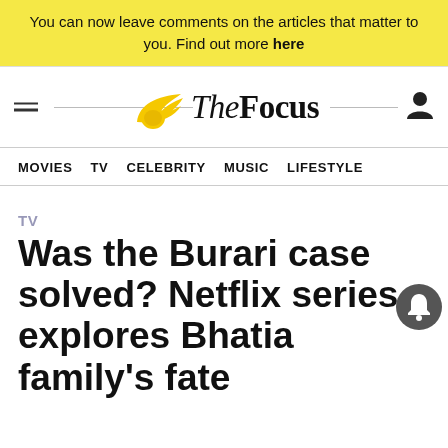You can now leave comments on the articles that matter to you. Find out more here
[Figure (logo): The Focus logo with golden wing icon and serif/sans-serif logotype]
MOVIES  TV  CELEBRITY  MUSIC  LIFESTYLE
TV
Was the Burari case solved? Netflix series explores Bhatia family's fate